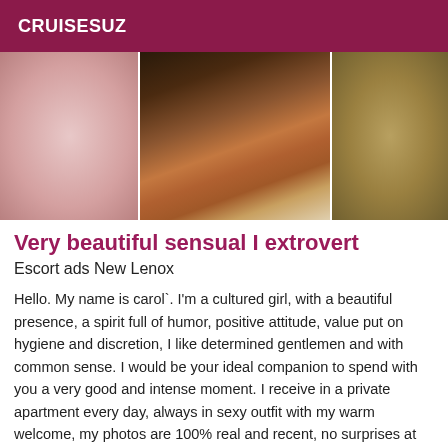CRUISESUZ
[Figure (photo): Three-panel photo: left panel shows blurred pinkish-tan skin tones, center panel shows a person's legs on a bed with patterned fabric, right panel shows blurred olive/tan tones.]
Very beautiful sensual I extrovert
Escort ads New Lenox
Hello. My name is carol`. I'm a cultured girl, with a beautiful presence, a spirit full of humor, positive attitude, value put on hygiene and discretion, I like determined gentlemen and with common sense. I would be your ideal companion to spend with you a very good and intense moment. I receive in a private apartment every day, always in sexy outfit with my warm welcome, my photos are 100% real and recent, no surprises at the arrival.